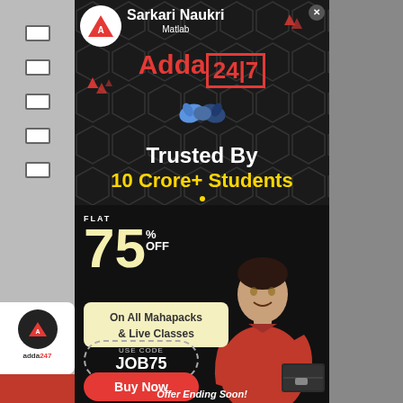[Figure (logo): Adda247 logo circle in header]
Sarkari Naukri
Matlab
Adda247
[Figure (illustration): Handshake emoji illustration]
Trusted By
10 Crore+ Students
FLAT 75% OFF
On All Mahapacks & Live Classes
USE CODE JOB75
Buy Now
Offer Ending Soon!
[Figure (photo): Young male student in red t-shirt holding books, smiling]